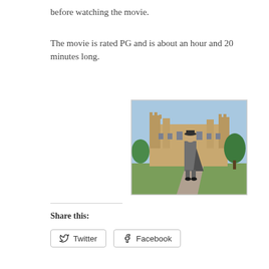before watching the movie.
The movie is rated PG and is about an hour and 20 minutes long.
[Figure (photo): A man in a long grey coat and black bowler hat walks along a path in front of a large English country house (Highclere Castle / Downton Abbey), with green lawns and trees in the background under a blue sky.]
Share this:
Twitter
Facebook